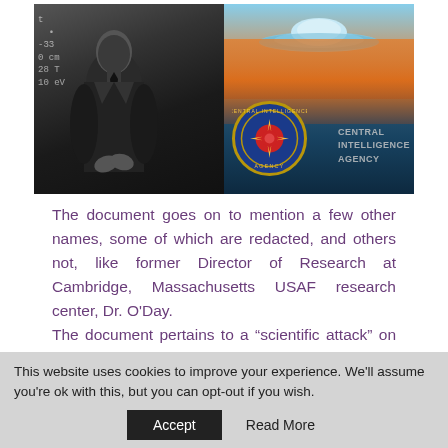[Figure (photo): Composite image: left side shows a black and white photo of a man in a suit standing in front of a chalkboard with equations; right side shows a colorful image of a UFO/flying saucer over water with a sunset sky, CIA seal logo overlaid, and text reading 'CENTRAL INTELLIGENCE AGENCY']
The document goes on to mention a few other names, some of which are redacted, and others not, like former Director of Research at Cambridge, Massachusetts USAF research center, Dr. O'Day.
The document pertains to a “scientific attack” on the UFO problem.
This website uses cookies to improve your experience. We'll assume you're ok with this, but you can opt-out if you wish.